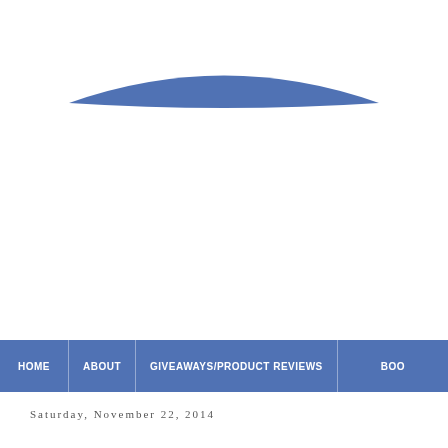[Figure (logo): Blue lens-shaped arc/logo graphic centered near top of page]
HOME | ABOUT | GIVEAWAYS/PRODUCT REVIEWS | BOO...
Saturday, November 22, 2014